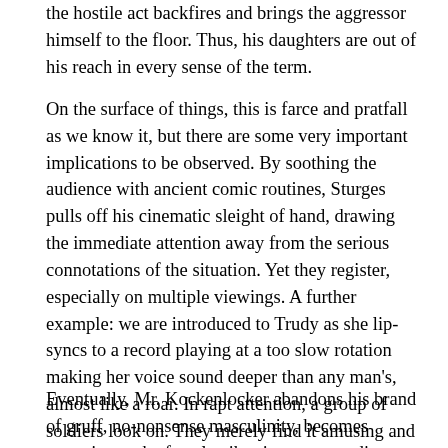the hostile act backfires and brings the aggressor himself to the floor. Thus, his daughters are out of his reach in every sense of the term.
On the surface of things, this is farce and pratfall as we know it, but there are some very important implications to be observed. By soothing the audience with ancient comic routines, Sturges pulls off his cinematic sleight of hand, drawing the immediate attention away from the serious connotations of the situation. Yet they register, especially on multiple viewings. A further example: we are introduced to Trudy as she lip-syncs to a record playing at a too slow rotation making her voice sound deeper than any man's, almost like a roar. In rapt attention, a group of soldiers look on. They merely find it amusing and peculiar, though, not realising that what they are actually being treated to is a glimpse of things to come: in the not too-distant future, Trudy and her fellow females would truly make themselves heard.
Eventually, Mr. Kockenlocker abandons his brand of gruff, no-nonsense masculinity, becomes receptive to the female vibrations surrounding him and develops what truly looks and sounds like a feminine side (to live in peaceful co-existence